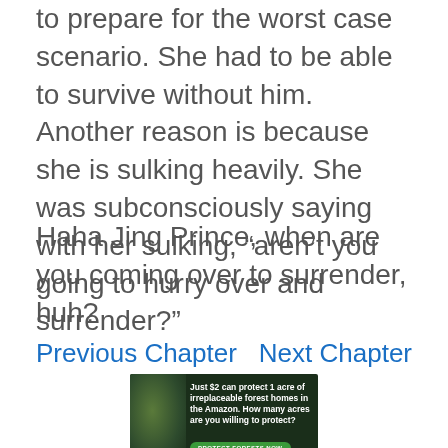to prepare for the worst case scenario. She had to be able to survive without him. Another reason is because she is sulking heavily. She was subconsciously saying with her sulking, “aren’t you going to hurry over and surrender?”
Haha Jing Prince, when are you coming over to surrender, huh?
Previous Chapter
Next Chapter
[Figure (other): Advertisement banner: dark forest background with sloth image. Text reads 'Just $2 can protect 1 acre of irreplaceable forest homes in the Amazon. How many acres are you willing to protect?' with a green 'PROTECT FORESTS NOW' button.]